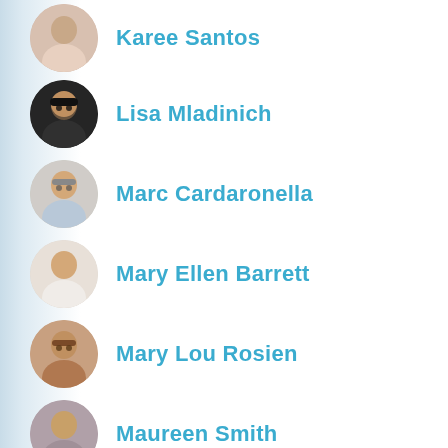Karee Santos
Lisa Mladinich
Marc Cardaronella
Mary Ellen Barrett
Mary Lou Rosien
Maureen Smith
Monsignor Robert Batule